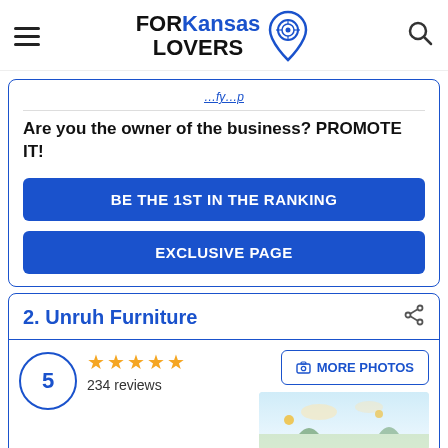FOR Kansas LOVERS
Are you the owner of the business? PROMOTE IT!
BE THE 1ST IN THE RANKING
EXCLUSIVE PAGE
2. Unruh Furniture
5 ★★★★★ 234 reviews
MORE PHOTOS
Prices